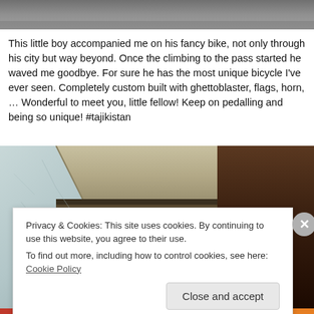[Figure (photo): Top portion of a photo, showing asphalt/ground, partially cropped]
This little boy accompanied me on his fancy bike, not only through his city but way beyond. Once the climbing to the pass started he waved me goodbye. For sure he has the most unique bicycle I've ever seen. Completely custom built with ghettoblaster, flags, horn, … Wonderful to meet you, little fellow! Keep on pedalling and being so unique! #tajikistan
[Figure (photo): Interior photo showing a dimly lit corridor or room with whitish/bluish cracked plaster walls on the left and dark wooden door/wall on the right, with a dark opening.]
Privacy & Cookies: This site uses cookies. By continuing to use this website, you agree to their use.
To find out more, including how to control cookies, see here: Cookie Policy
Close and accept